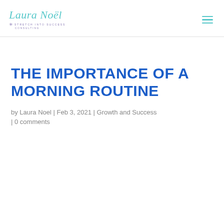[Figure (logo): Laura Noël - Stretch Into Success Consulting logo with teal cursive text and purple snowflake icon]
THE IMPORTANCE OF A MORNING ROUTINE
by Laura Noel | Feb 3, 2021 | Growth and Success | 0 comments